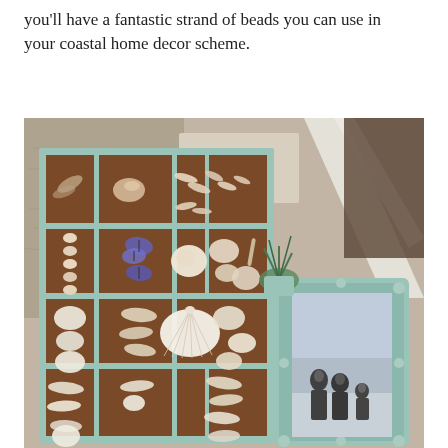you'll have a fantastic strand of beads you can use in your coastal home decor scheme.
[Figure (photo): A wooden shadow box display unit with a light blue/seafoam painted frame, filled with various seashells, small shells, butterfly specimens, and other coastal collectibles arranged in individual compartments. Beside it is a decorative seafoam blue ornate picture frame containing a black and white family photo. Background shows vintage maps and neutral wall decor.]